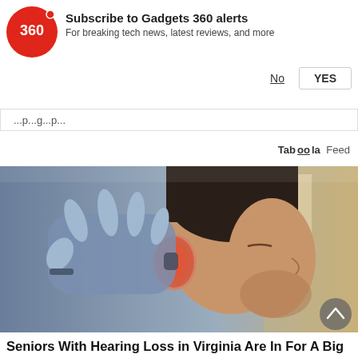[Figure (logo): Gadgets 360 red circular logo with '360' text and a dot]
Subscribe to Gadgets 360 alerts
For breaking tech news, latest reviews, and more
No   YES
...p...g...p...
Taboola Feed
[Figure (photo): A man with eyes closed having someone place a hearing aid in his ear, ear glowing red, in a clinic setting]
Seniors With Hearing Loss in Virginia Are In For A Big